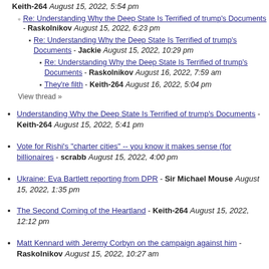Keith-264 August 15, 2022, 5:54 pm
Re: Understanding Why the Deep State Is Terrified of trump's Documents - Raskolnikov August 15, 2022, 6:23 pm
Re: Understanding Why the Deep State Is Terrified of trump's Documents - Jackie August 15, 2022, 10:29 pm
Re: Understanding Why the Deep State Is Terrified of trump's Documents - Raskolnikov August 16, 2022, 7:59 am
They're filth - Keith-264 August 16, 2022, 5:04 pm
View thread »
Understanding Why the Deep State Is Terrified of trump's Documents - Keith-264 August 15, 2022, 5:41 pm
Vote for Rishi's "charter cities" -- you know it makes sense (for billionaires - scrabb August 15, 2022, 4:00 pm
Ukraine: Eva Bartlett reporting from DPR - Sir Michael Mouse August 15, 2022, 1:35 pm
The Second Coming of the Heartland - Keith-264 August 15, 2022, 12:12 pm
Matt Kennard with Jeremy Corbyn on the campaign against him - Raskolnikov August 15, 2022, 10:27 am